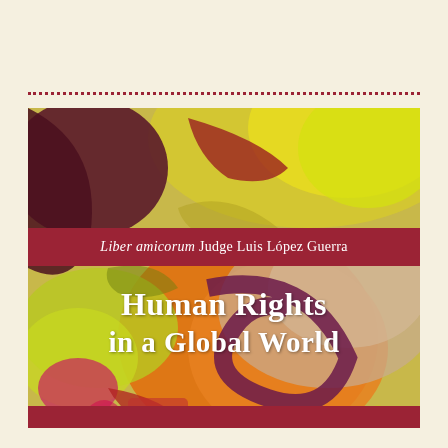[Figure (illustration): Book cover image featuring abstract painting with yellow, orange, purple, red and green brushstrokes. A dark red dotted line appears above the cover. A crimson banner across the middle reads 'Liber amicorum Judge Luis López Guerra'. Bold white title text reads 'Human Rights in a Global World'. A crimson bar runs along the bottom of the cover.]